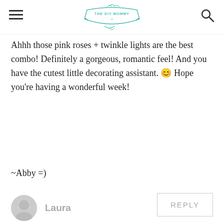THE DIY MOMMY
Ahhh those pink roses + twinkle lights are the best combo! Definitely a gorgeous, romantic feel! And you have the cutest little decorating assistant. 😊 Hope you're having a wonderful week!
~Abby =)
REPLY
Laura